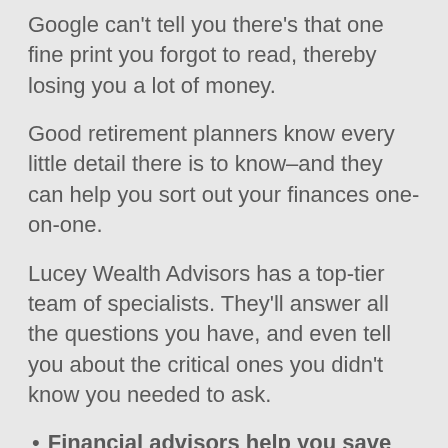Google can't tell you there's that one fine print you forgot to read, thereby losing you a lot of money.
Good retirement planners know every little detail there is to know–and they can help you sort out your finances one-on-one.
Lucey Wealth Advisors has a top-tier team of specialists. They'll answer all the questions you have, and even tell you about the critical ones you didn't know you needed to ask.
Financial advisors help you save on taxes in West SoMa, CA
Taxes can be crazy expensive. They are legally unavoidable, but that doesn't mean there aren't legal ways to pay fewer taxes.